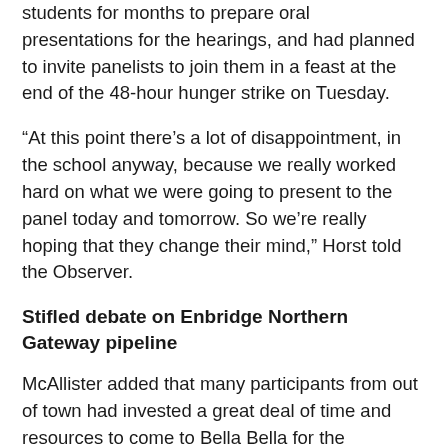Horst and her colleagues had been working with students for months to prepare oral presentations for the hearings, and had planned to invite panelists to join them in a feast at the end of the 48-hour hunger strike on Tuesday.
“At this point there’s a lot of disappointment, in the school anyway, because we really worked hard on what we were going to present to the panel today and tomorrow. So we’re really hoping that they change their mind,” Horst told the Observer.
Stifled debate on Enbridge Northern Gateway pipeline
McAllister added that many participants from out of town had invested a great deal of time and resources to come to Bella Bella for the hearings, and are now very disheartened at the recent turn of events.